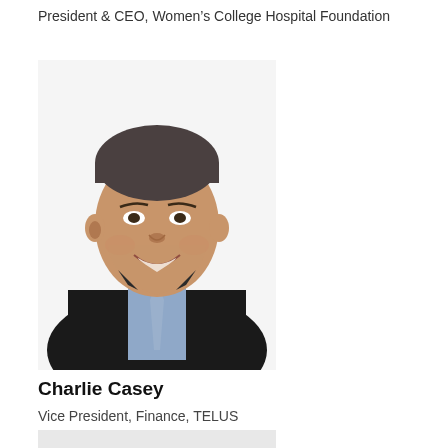President & CEO, Women's College Hospital Foundation
[Figure (photo): Professional headshot of Charlie Casey, a man in a dark suit with a light blue tie, smiling against a white background]
Charlie Casey
Vice President, Finance, TELUS
[Figure (photo): Partial view of another person's photo at the bottom of the page]